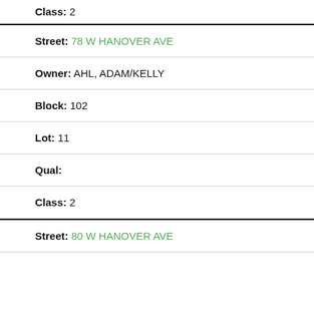Class: 2
Street: 78 W HANOVER AVE
Owner: AHL, ADAM/KELLY
Block: 102
Lot: 11
Qual:
Class: 2
Street: 80 W HANOVER AVE